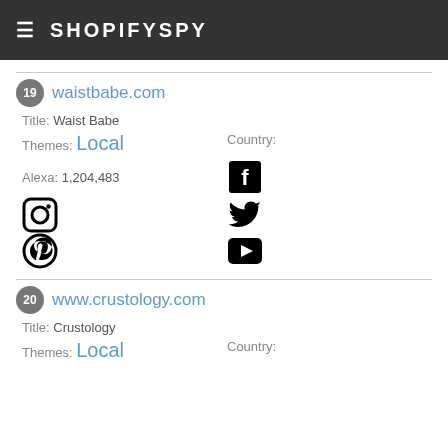≡ SHOPIFYSPY
19 waistbabe.com — Title: Waist Babe, Themes: Local, Country: , Alexa: 1,204,483, Social: Facebook, Instagram, Twitter, Pinterest, YouTube
20 www.crustology.com — Title: Crustology, Themes: Local, Country: